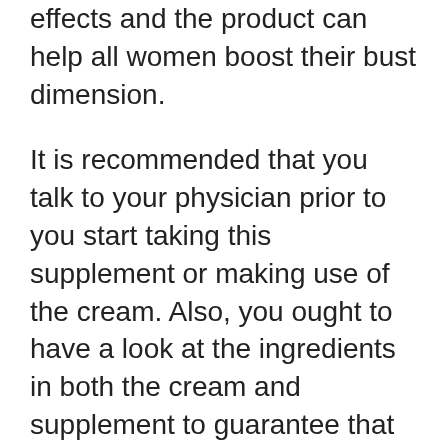effects and the product can help all women boost their bust dimension.
It is recommended that you talk to your physician prior to you start taking this supplement or making use of the cream. Also, you ought to have a look at the ingredients in both the cream and supplement to guarantee that you are not allergic to any of the components. While the item itself is safe, an allergic reaction can still occur considering that it is your body declining the component that you have an allergy to.
Females under the age of 18 and also ladies who are expecting, plan to become pregnant, or are breastfeeding ought to not